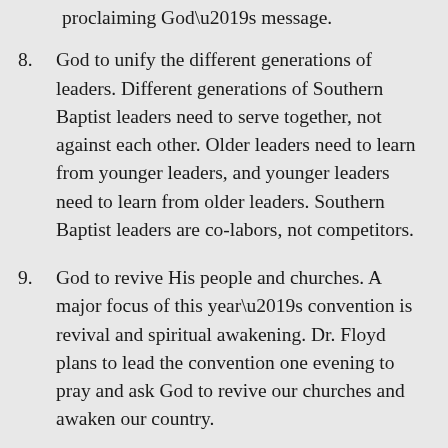proclaiming God's message.
8. God to unify the different generations of leaders. Different generations of Southern Baptist leaders need to serve together, not against each other. Older leaders need to learn from younger leaders, and younger leaders need to learn from older leaders. Southern Baptist leaders are co-labors, not competitors.
9. God to revive His people and churches. A major focus of this year's convention is revival and spiritual awakening. Dr. Floyd plans to lead the convention one evening to pray and ask God to revive our churches and awaken our country.